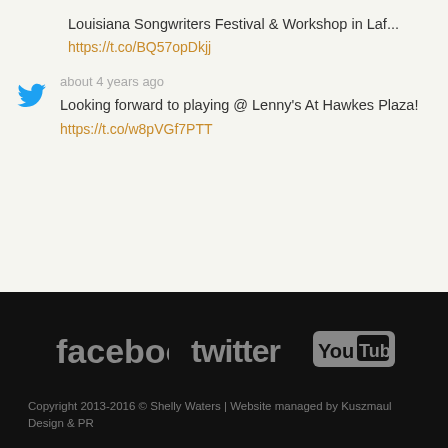Louisiana Songwriters Festival & Workshop in Laf...
https://t.co/BQ57opDkjj
about 4 years ago
Looking forward to playing @ Lenny's At Hawkes Plaza!
https://t.co/w8pVGf7PTT
[Figure (logo): Facebook, Twitter, and YouTube logos in grey on black footer]
Copyright 2013-2016 © Shelly Waters | Website managed by Kuszmaul Design & PR